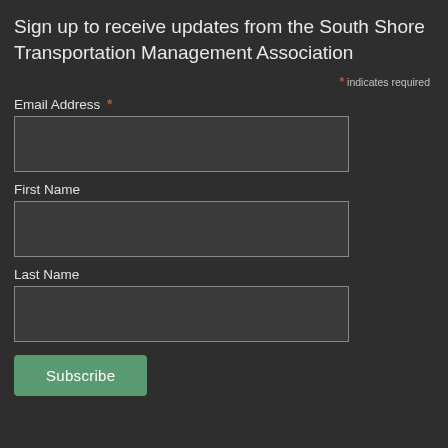Sign up to receive updates from the South Shore Transportation Management Association
* indicates required
Email Address *
First Name
Last Name
Subscribe